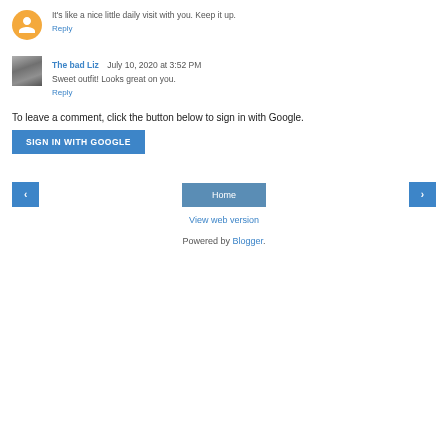It's like a nice little daily visit with you. Keep it up.
Reply
The bad Liz  July 10, 2020 at 3:52 PM
Sweet outfit! Looks great on you.
Reply
To leave a comment, click the button below to sign in with Google.
SIGN IN WITH GOOGLE
Home
View web version
Powered by Blogger.